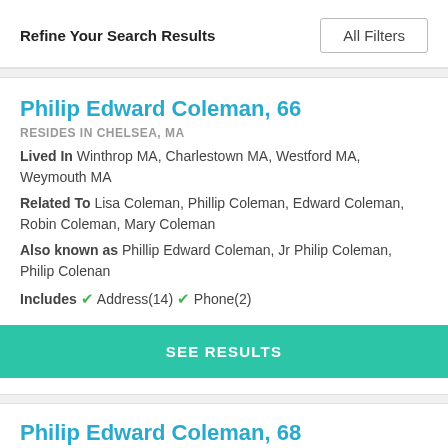Refine Your Search Results
All Filters
Philip Edward Coleman, 66
RESIDES IN CHELSEA, MA
Lived In Winthrop MA, Charlestown MA, Westford MA, Weymouth MA
Related To Lisa Coleman, Phillip Coleman, Edward Coleman, Robin Coleman, Mary Coleman
Also known as Phillip Edward Coleman, Jr Philip Coleman, Philip Colenan
Includes ✓ Address(14) ✓ Phone(2)
SEE RESULTS
Philip Edward Coleman, 68